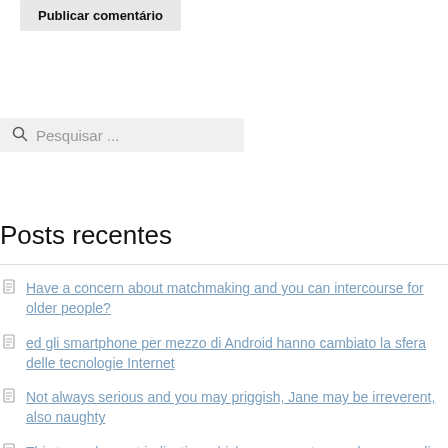Publicar comentário
[Figure (other): Search box with magnifying glass icon and placeholder text 'Pesquisar ...']
Posts recentes
Have a concern about matchmaking and you can intercourse for older people?
ed gli smartphone per mezzo di Android hanno cambiato la sfera delle tecnologie Internet
Not always serious and you may priggish, Jane may be irreverent, also naughty
This try a pleasant indication which you accept your place regarding relationship
Narcissistic mom quilts and you can shames you into the a dramatic